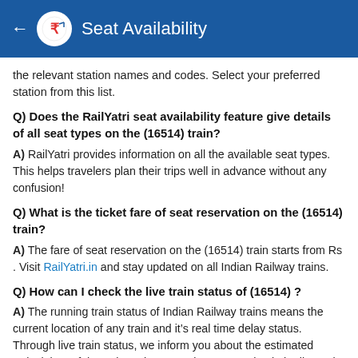Seat Availability
the relevant station names and codes. Select your preferred station from this list.
Q) Does the RailYatri seat availability feature give details of all seat types on the (16514) train?
A) RailYatri provides information on all the available seat types. This helps travelers plan their trips well in advance without any confusion!
Q) What is the ticket fare of seat reservation on the (16514) train?
A) The fare of seat reservation on the (16514) train starts from Rs . Visit RailYatri.in and stay updated on all Indian Railway trains.
Q) How can I check the live train status of (16514) ?
A) The running train status of Indian Railway trains means the current location of any train and it’s real time delay status. Through live train status, we inform you about the estimated arrival time of the train at the upcoming stops. Check the live train running status of IRCTC train 16514 on the go!